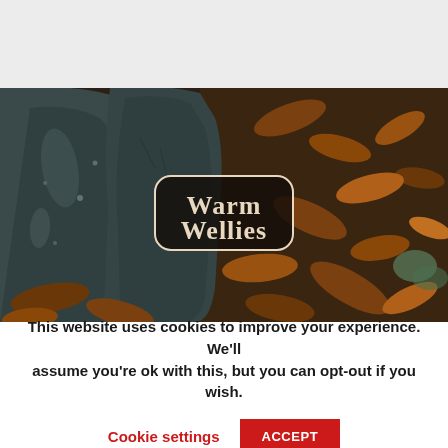[Figure (photo): Hero image of rubber wellington boots (wellies) resting on autumn leaves on the ground, viewed from above. A branded logo badge in the center reads 'Warm Wellies' in serif white text on a dark background with a rounded rectangle border.]
This website uses cookies to improve your experience. We'll assume you're ok with this, but you can opt-out if you wish.
Cookie settings
ACCEPT